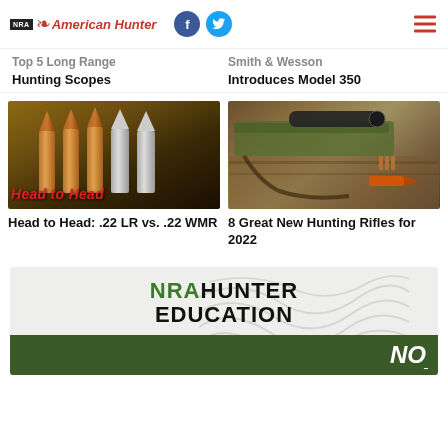NRA American Hunter
Hunting Scopes
Introduces Model 350
[Figure (photo): Close-up of several rifle bullets/cartridges standing upright with 'Head to Head' text overlay in red]
[Figure (photo): Camouflage hunting rifle with scope, sling, ammunition and orange knife on wooden surface]
Head to Head: .22 LR vs. .22 WMR
8 Great New Hunting Rifles for 2022
[Figure (infographic): NRA Hunter Education advertisement banner with topographic line background, green and black text, and green bar at bottom with 'NO' text]